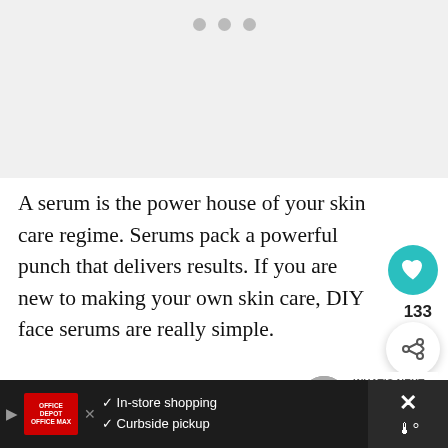[Figure (other): Light gray image placeholder area with three small gray dots (pagination/carousel indicator) near the top center]
A serum is the power house of your skin care regime. Serums pack a powerful punch that delivers results. If you are new to making your own skin care, DIY face serums are really simple.
First, you pick a good base for your DIY face serum
[Figure (screenshot): Bottom ad bar: Office Depot/OfficeMax logo, In-store shopping checkmark, Curbside pickup checkmark, blue navigation arrow icon, partially visible close button area]